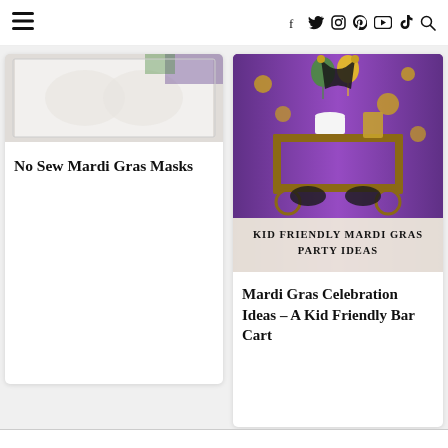Navigation bar with hamburger menu and social icons: f, twitter, instagram, pinterest, youtube, tiktok, search
[Figure (photo): Partial view of Mardi Gras mask craft photo (cropped at top)]
No Sew Mardi Gras Masks
[Figure (photo): Kid Friendly Mardi Gras Party Ideas - bar cart with purple backdrop, balloons, masks, cake, drinks, and decorations]
Mardi Gras Celebration Ideas – A Kid Friendly Bar Cart